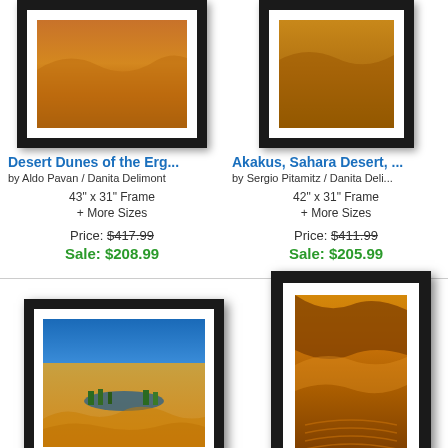[Figure (photo): Framed photo of desert dunes with warm orange tones, partial view at top]
[Figure (photo): Framed photo of Sahara desert with brown tones, partial view at top]
Desert Dunes of the Erg...
by Aldo Pavan / Danita Delimont
43" x 31" Frame
+ More Sizes
Price: $417.99
Sale: $208.99
Akakus, Sahara Desert, ...
by Sergio Pitamitz / Danita Deli...
42" x 31" Frame
+ More Sizes
Price: $411.99
Sale: $205.99
[Figure (photo): Framed landscape photo of desert oasis with blue sky, sand dunes and water/vegetation]
[Figure (photo): Framed portrait photo of golden sand dunes with ripple patterns in warm orange light]